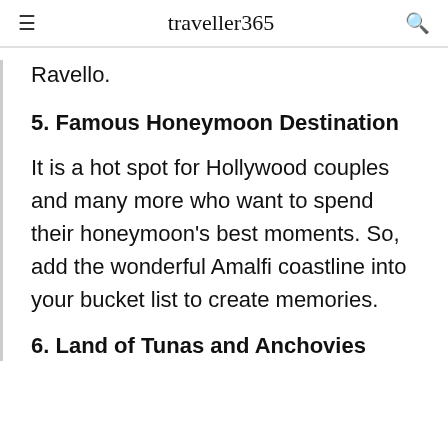≡   traveller365   🔍
Ravello.
5. Famous Honeymoon Destination
It is a hot spot for Hollywood couples and many more who want to spend their honeymoon's best moments. So, add the wonderful Amalfi coastline into your bucket list to create memories.
6. Land of Tunas and Anchovies